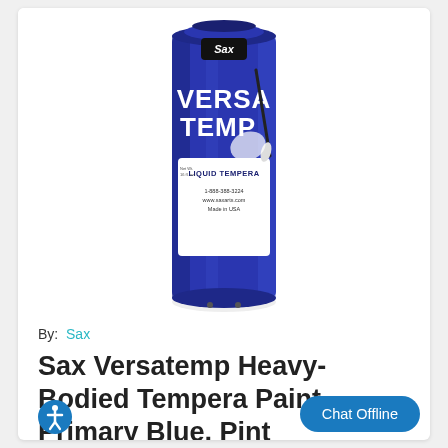[Figure (photo): A blue cylindrical bottle of Sax Versa Temp Liquid Tempera paint. The bottle has a dark blue body with a label showing 'Sax' logo at top, 'VERSA TEMP' in large white text, 'LIQUID TEMPERA' below, and contact info including phone and website. The bottle stands upright on a white background.]
By:  Sax
Sax Versatemp Heavy-Bodied Tempera Paint, Primary Blue, Pint